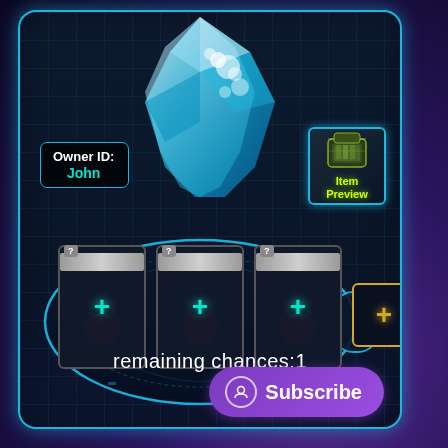[Figure (screenshot): Mobile game UI screenshot showing a gacha/loot box interface with a crystal item, owner ID label showing 'John', item preview button, three card slots with creature silhouettes and plus signs, a gold plus slot, remaining chances counter, and Subscribe button on a dark space-themed background.]
Owner ID: John
Item Preview
remaining chances:1
Subscribe